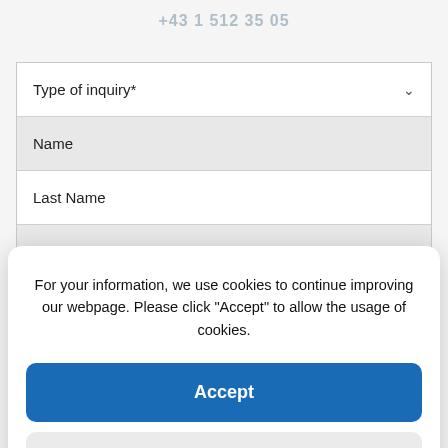+43 1 512 35 05
[Figure (screenshot): Web form with fields: Type of inquiry (dropdown), Name, Last Name, E-Mail (partially visible)]
For your information, we use cookies to continue improving our webpage. Please click "Accept" to allow the usage of cookies.
Accept
Deny
Cookie-Policy   Privacy Policy   Imprint